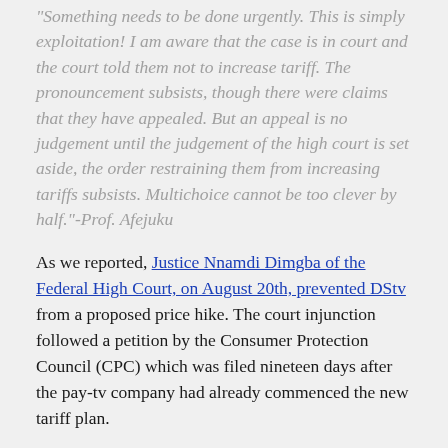Something needs to be done urgently. This is simply exploitation! I am aware that the case is in court and the court told them not to increase tariff. The pronouncement subsists, though there were claims that they have appealed. But an appeal is no judgement until the judgement of the high court is set aside, the order restraining them from increasing tariffs subsists. Multichoice cannot be too clever by half."-Prof. Afejuku
As we reported, Justice Nnamdi Dimgba of the Federal High Court, on August 20th, prevented DStv from a proposed price hike. The court injunction followed a petition by the Consumer Protection Council (CPC) which was filed nineteen days after the pay-tv company had already commenced the new tariff plan.